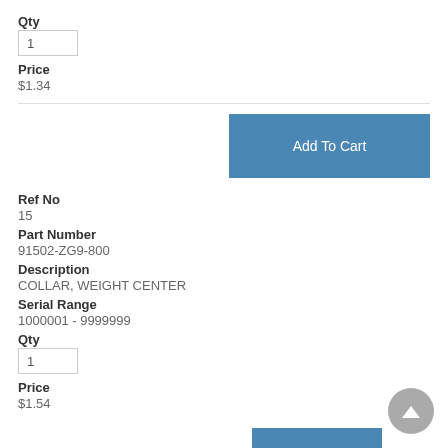Qty
1
Price
$1.34
[Figure (other): Add To Cart button]
Ref No
15
Part Number
91502-ZG9-800
Description
COLLAR, WEIGHT CENTER
Serial Range
1000001 - 9999999
Qty
1
Price
$1.54